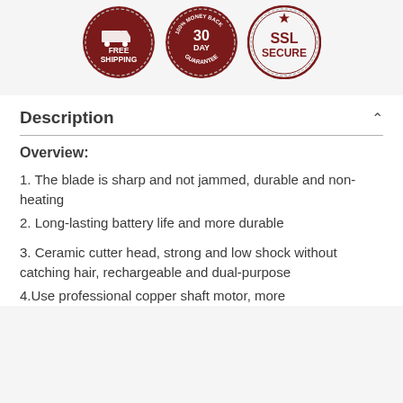[Figure (infographic): Three circular badge icons: Free Shipping, 30 Day Money Back Guarantee, SSL Secure]
Description
Overview:
1. The blade is sharp and not jammed, durable and non-heating
2. Long-lasting battery life and more durable
3. Ceramic cutter head, strong and low shock without catching hair, rechargeable and dual-purpose
4.Use professional copper shaft motor, more